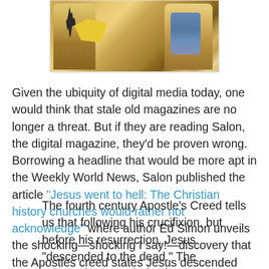[Figure (illustration): A colorful religious painting showing robed figures, with yellow, gold, and blue tones. Partial view of an artwork depicting biblical or religious scene.]
Given the ubiquity of digital media today, one would think that stale old magazines are no longer a threat. But if they are reading Salon, the digital magazine, they'd be proven wrong. Borrowing a headline that would be more apt in the Weekly World News, Salon published the article "Jesus went to hell: The Christian history churches would rather not acknowledge" where author Ed Simon unveils the shocking—shocking I say!—discovery that the Apostles creed states Jesus descended into hell. Simon writes:
The fourth century Apostle's Creed tells us that following his crucifixion, but before his resurrection, Jesus "descended to the dead." The Athanasian Creed of at least a century later is more explicit, Christ "descended into hell." Depending on context and translation Jesus either journeyed to Sheol, Hades, or Hell. 1